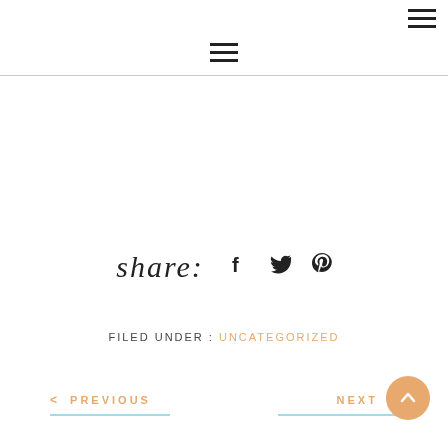hamburger menu icons
share:
FILED UNDER : UNCATEGORIZED
< PREVIOUS   NEXT >